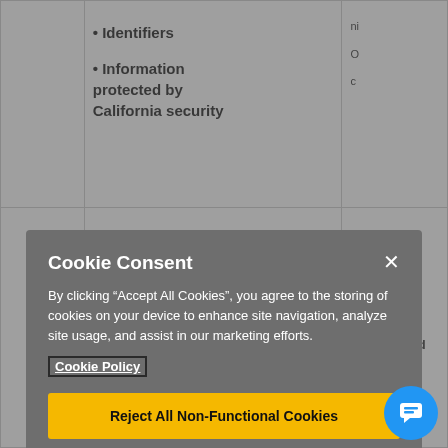|  |  |  |
| --- | --- | --- |
|  | • Identifiers
• Information protected by California security |  |
|  | Information | monitor and |
Cookie Consent
By clicking “Accept All Cookies”, you agree to the storing of cookies on your device to enhance site navigation, analyze site usage, and assist in our marketing efforts.
Cookie Policy
Reject All Non-Functional Cookies
Accept All Cookies
Cookies Settings